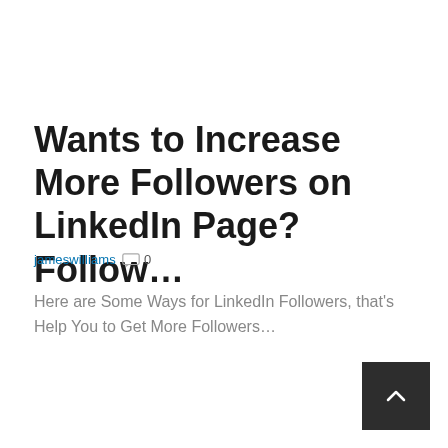Wants to Increase More Followers on LinkedIn Page? Follow…
jameswilliams   0
Here are Some Ways for LinkedIn Followers, that's Help You to Get More Followers…